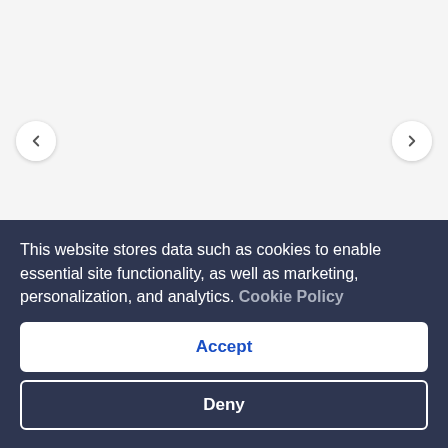[Figure (screenshot): Hotel room image carousel with left/right navigation arrows and a photo count badge showing 7 photos]
1 King Standard Comm Access Roll Shower
356 sq ft
Sleeps 2
1 King Bed
This website stores data such as cookies to enable essential site functionality, as well as marketing, personalization, and analytics. Cookie Policy
Accept
Deny